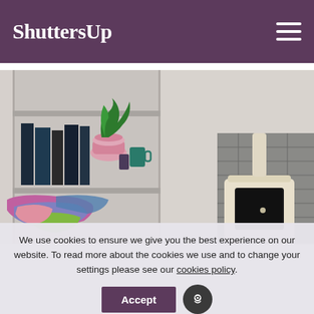ShuttersUp
[Figure (photo): Interior room photo showing built-in shelving unit with books, a green plant in a pink pot, and decorative items on the left. On the right side, a cream/white wood-burning stove set within a fireplace alcove with stone surround. In the foreground, colorful blankets and cushions in pink, blue, and green are draped over a chair.]
We use cookies to ensure we give you the best experience on our website. To read more about the cookies we use and to change your settings please see our cookies policy.